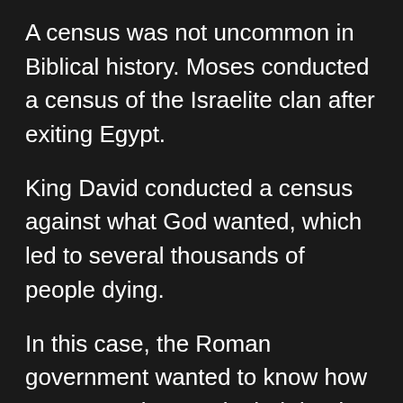A census was not uncommon in Biblical history. Moses conducted a census of the Israelite clan after exiting Egypt.
King David conducted a census against what God wanted, which led to several thousands of people dying.
In this case, the Roman government wanted to know how many people were in their land so they could tax them appropriately (or inappropriately).
The journey was not easy. They needed to arrive to be counted, although they had no idea what